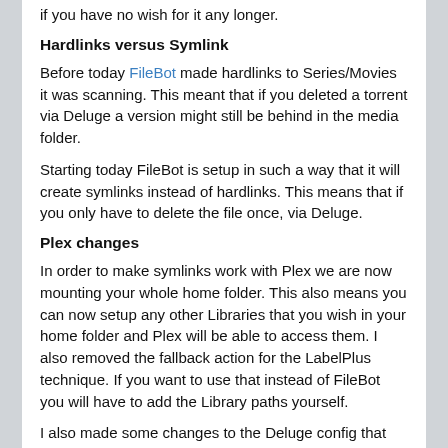if you have no wish for it any longer.
Hardlinks versus Symlink
Before today FileBot made hardlinks to Series/Movies it was scanning. This meant that if you deleted a torrent via Deluge a version might still be behind in the media folder.
Starting today FileBot is setup in such a way that it will create symlinks instead of hardlinks. This means that if you only have to delete the file once, via Deluge.
Plex changes
In order to make symlinks work with Plex we are now mounting your whole home folder. This also means you can now setup any other Libraries that you wish in your home folder and Plex will be able to access them. I also removed the fallback action for the LabelPlus technique. If you want to use that instead of FileBot you will have to add the Library paths yourself.
I also made some changes to the Deluge config that hopefully should increase download and upload performance.
All these changes are only activated on new installations of the apps. So if you want to change the behaviour you can uninstall/reinstall your apps. Please note that uninstall will also affect your Deluge state folder so you will have to re-add torrents you want to keep seeded. You can also move your state folder away before uninstalling by issuing killa